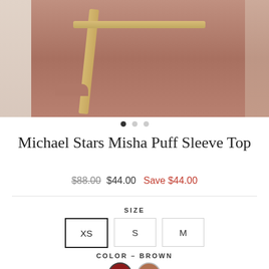[Figure (photo): Product photo of a mauve/brown puff sleeve top hanging on a wooden rack, shown from front. Three-panel image layout with main center panel and partial side panels visible.]
Michael Stars Misha Puff Sleeve Top
$88.00 $44.00 Save $44.00
SIZE
XS S M
COLOR – BROWN